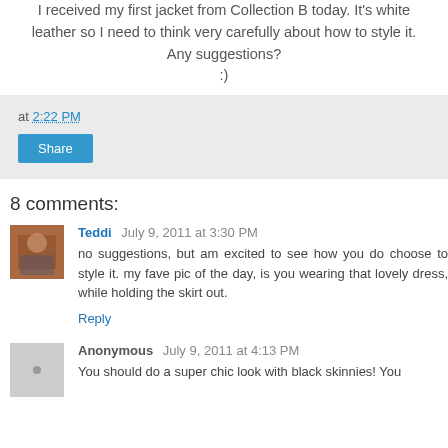I received my first jacket from Collection B today. It's white leather so I need to think very carefully about how to style it. Any suggestions?
:)
at 2:22 PM
Share
8 comments:
Teddi July 9, 2011 at 3:30 PM
no suggestions, but am excited to see how you do choose to style it. my fave pic of the day, is you wearing that lovely dress, while holding the skirt out.
Reply
Anonymous July 9, 2011 at 4:13 PM
You should do a super chic look with black skinnies! You